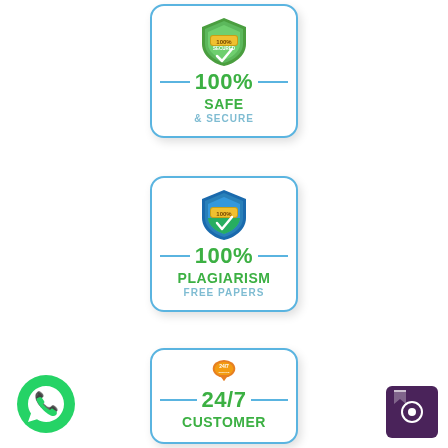[Figure (infographic): Card with shield badge, 100% SAFE & SECURE]
[Figure (infographic): Card with shield badge, 100% PLAGIARISM FREE PAPERS]
[Figure (infographic): Card with 24/7 badge, 24/7 CUSTOMER (partially visible)]
[Figure (infographic): WhatsApp chat button (green circle with phone icon)]
[Figure (infographic): Dark purple chat/notification button (bottom right)]